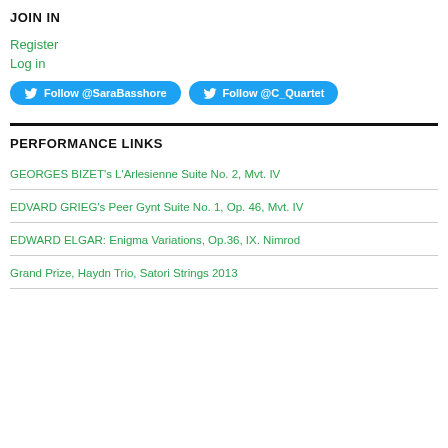JOIN IN
Register
Log in
[Figure (other): Two Twitter follow buttons: Follow @SaraBasshore and Follow @C_Quartet]
PERFORMANCE LINKS
GEORGES BIZET's L'Arlesienne Suite No. 2, Mvt. IV
EDVARD GRIEG's Peer Gynt Suite No. 1, Op. 46, Mvt. IV
EDWARD ELGAR: Enigma Variations, Op.36, IX. Nimrod
Grand Prize, Haydn Trio, Satori Strings 2013